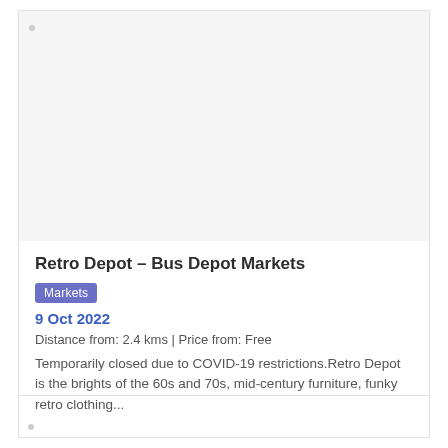[Figure (photo): Large image placeholder area at the top of the card (light gray background, no visible image content)]
Retro Depot – Bus Depot Markets
Markets
9 Oct 2022
Distance from: 2.4 kms | Price from: Free
Temporarily closed due to COVID-19 restrictions.Retro Depot is the brights of the 60s and 70s, mid-century furniture, funky retro clothing...